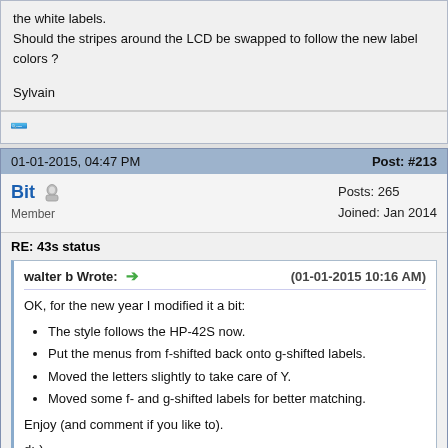the white labels. Should the stripes around the LCD be swapped to follow the new label colors ?
Sylvain
[Figure (other): FIND button with magnifying glass icon]
01-01-2015, 04:47 PM
Post: #213
Bit  Member  Posts: 265  Joined: Jan 2014
RE: 43s status
walter b Wrote: → (01-01-2015 10:16 AM)
OK, for the new year I modified it a bit:
• The style follows the HP-42S now.
• Put the menus from f-shifted back onto g-shifted labels.
• Moved the letters slightly to take care of Y.
• Moved some f- and g-shifted labels for better matching.
Enjoy (and comment if you like to).
d:-)